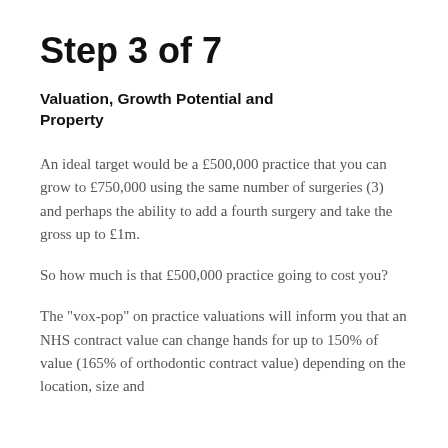Step 3 of 7
Valuation, Growth Potential and Property
An ideal target would be a £500,000 practice that you can grow to £750,000 using the same number of surgeries (3) and perhaps the ability to add a fourth surgery and take the gross up to £1m.
So how much is that £500,000 practice going to cost you?
The "vox-pop" on practice valuations will inform you that an NHS contract value can change hands for up to 150% of value (165% of orthodontic contract value) depending on the location, size and